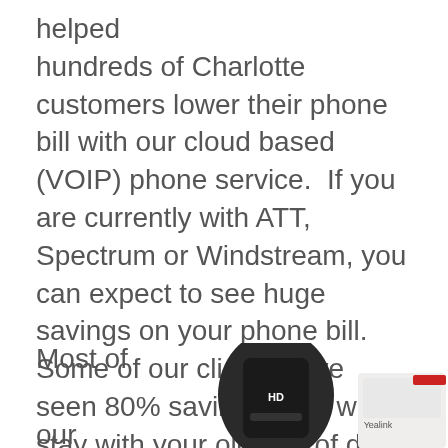helped hundreds of Charlotte customers lower their phone bill with our cloud based (VOIP) phone service.  If you are currently with ATT, Spectrum or Windstream, you can expect to see huge savings on your phone bill.  Some of our clients have seen 80% savings!   So why stay with your old, out of date phone system when you can get a new, easy to use phone system for  FREE!
Most of our competito
[Figure (photo): Photo of two devices: a black HD set-top box or router on the left, and a Yealink phone/device partially visible on the right]